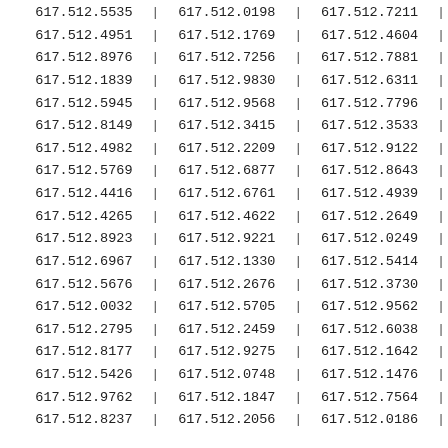| Col1 | Col2 | Col3 |
| --- | --- | --- |
| 617.512.5535 | 617.512.0198 | 617.512.7211 |
| 617.512.4951 | 617.512.1769 | 617.512.4604 |
| 617.512.8976 | 617.512.7256 | 617.512.7881 |
| 617.512.1839 | 617.512.9830 | 617.512.6311 |
| 617.512.5945 | 617.512.9568 | 617.512.7796 |
| 617.512.8149 | 617.512.3415 | 617.512.3533 |
| 617.512.4982 | 617.512.2209 | 617.512.9122 |
| 617.512.5769 | 617.512.6877 | 617.512.8643 |
| 617.512.4416 | 617.512.6761 | 617.512.4939 |
| 617.512.4265 | 617.512.4622 | 617.512.2649 |
| 617.512.8923 | 617.512.9221 | 617.512.0249 |
| 617.512.6967 | 617.512.1330 | 617.512.5414 |
| 617.512.5676 | 617.512.2676 | 617.512.3730 |
| 617.512.0032 | 617.512.5705 | 617.512.9562 |
| 617.512.2795 | 617.512.2459 | 617.512.6038 |
| 617.512.8177 | 617.512.9275 | 617.512.1642 |
| 617.512.5426 | 617.512.0748 | 617.512.1476 |
| 617.512.9762 | 617.512.1847 | 617.512.7564 |
| 617.512.8237 | 617.512.2056 | 617.512.0186 |